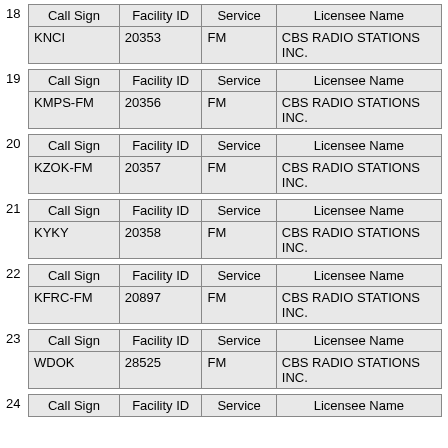| Call Sign | Facility ID | Service | Licensee Name |
| --- | --- | --- | --- |
| KNCI | 20353 | FM | CBS RADIO STATIONS INC. |
| Call Sign | Facility ID | Service | Licensee Name |
| --- | --- | --- | --- |
| KMPS-FM | 20356 | FM | CBS RADIO STATIONS INC. |
| Call Sign | Facility ID | Service | Licensee Name |
| --- | --- | --- | --- |
| KZOK-FM | 20357 | FM | CBS RADIO STATIONS INC. |
| Call Sign | Facility ID | Service | Licensee Name |
| --- | --- | --- | --- |
| KYKY | 20358 | FM | CBS RADIO STATIONS INC. |
| Call Sign | Facility ID | Service | Licensee Name |
| --- | --- | --- | --- |
| KFRC-FM | 20897 | FM | CBS RADIO STATIONS INC. |
| Call Sign | Facility ID | Service | Licensee Name |
| --- | --- | --- | --- |
| WDOK | 28525 | FM | CBS RADIO STATIONS INC. |
| Call Sign | Facility ID | Service | Licensee Name |
| --- | --- | --- | --- |